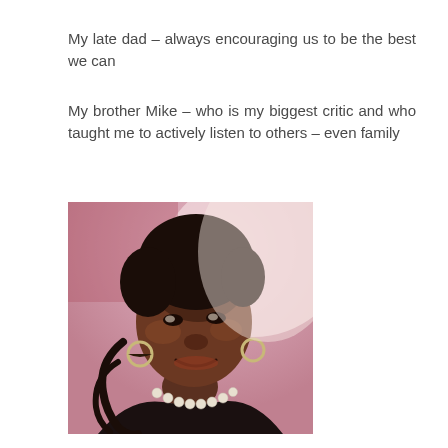My late dad – always encouraging us to be the best we can
My brother Mike – who is my biggest critic and who taught me to actively listen to others – even family
[Figure (photo): Portrait photo of a smiling woman wearing a pearl necklace and hoop earrings, with a colorful blurred background.]